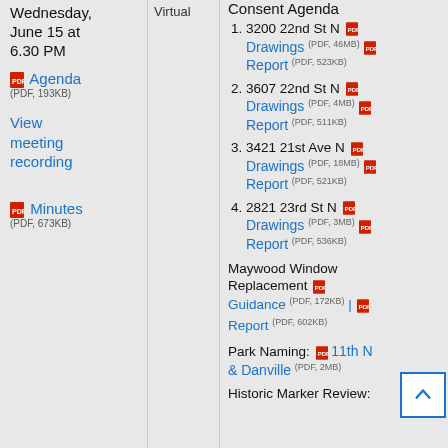Wednesday, June 15 at 6.30 PM
Agenda (PDF, 193KB)
View meeting recording
Minutes (PDF, 673KB)
Virtual
Consent Agenda
1. 3200 22nd St N — Drawings (PDF, 46MB) | Report (PDF, 523KB)
2. 3607 22nd St N — Drawings (PDF, 4MB) | Report (PDF, 511KB)
3. 3421 21st Ave N — Drawings (PDF, 18MB) | Report (PDF, 521KB)
4. 2821 23rd St N — Drawings (PDF, 3MB) | Report (PDF, 536KB)
Maywood Window Replacement
Guidance (PDF, 172KB) | Report (PDF, 602KB)
Park Naming: 11th & Danville (PDF, 2MB)
Historic Marker Review: